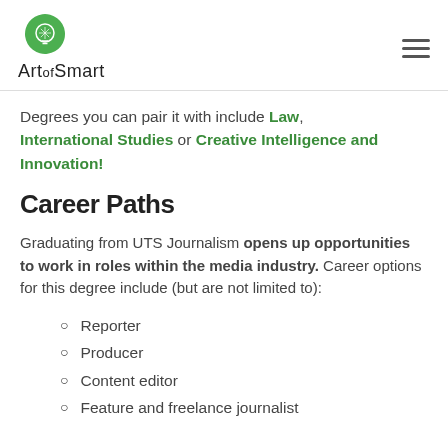[Figure (logo): Art of Smart logo — green leaf icon with light bulb graphic, text reads 'Art of Smart']
Degrees you can pair it with include Law, International Studies or Creative Intelligence and Innovation!
Career Paths
Graduating from UTS Journalism opens up opportunities to work in roles within the media industry. Career options for this degree include (but are not limited to):
Reporter
Producer
Content editor
Feature and freelance journalist